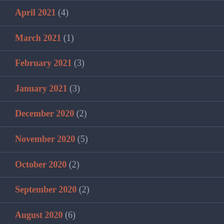April 2021 (4)
March 2021 (1)
February 2021 (3)
January 2021 (3)
December 2020 (2)
November 2020 (5)
October 2020 (2)
September 2020 (2)
August 2020 (6)
July 2020 (5)